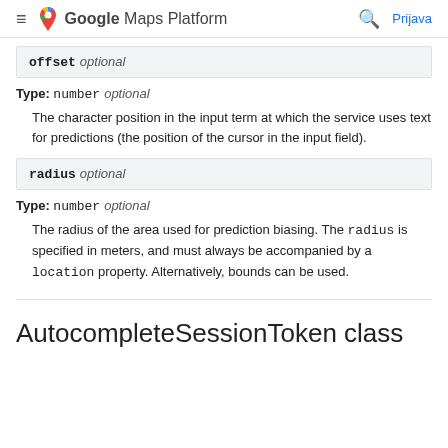Google Maps Platform  Prijava
offset  optional
Type: number  optional
The character position in the input term at which the service uses text for predictions (the position of the cursor in the input field).
radius  optional
Type: number  optional
The radius of the area used for prediction biasing. The radius is specified in meters, and must always be accompanied by a location property. Alternatively, bounds can be used.
AutocompleteSessionToken class